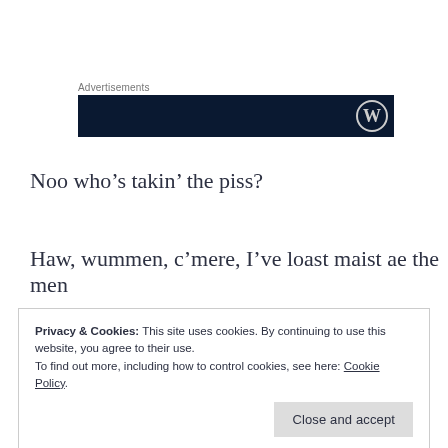[Figure (other): Advertisement banner area showing a dark navy background with a WordPress logo (circle W) in the bottom right corner. Labeled 'Advertisements' above.]
Noo who’s takin’ the piss?
Haw, wummen, c’mere, I’ve loast maist ae the men
Privacy & Cookies: This site uses cookies. By continuing to use this website, you agree to their use.
To find out more, including how to control cookies, see here: Cookie Policy
Close and accept